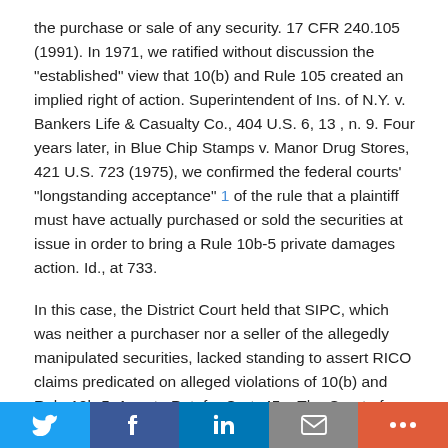the purchase or sale of any security. 17 CFR 240.105 (1991). In 1971, we ratified without discussion the "established" view that 10(b) and Rule 105 created an implied right of action. Superintendent of Ins. of N.Y. v. Bankers Life & Casualty Co., 404 U.S. 6, 13 , n. 9. Four years later, in Blue Chip Stamps v. Manor Drug Stores, 421 U.S. 723 (1975), we confirmed the federal courts' "longstanding acceptance" 1 of the rule that a plaintiff must have actually purchased or sold the securities at issue in order to bring a Rule 10b-5 private damages action. Id., at 733.
In this case, the District Court held that SIPC, which was neither a purchaser nor a seller of the allegedly manipulated securities, lacked standing to assert RICO claims predicated on alleged violations of 10(b) and Rule 10b-5. App. to Pet. for Cert. 45a. The Court of Appeals reversed, and held that Blue Chip Stamps' purchaser/seller limitation does not apply